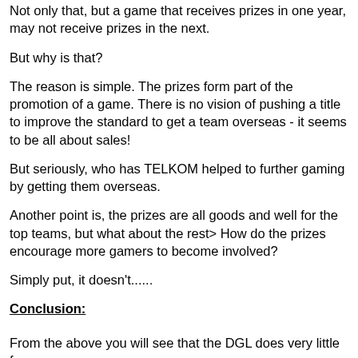Not only that, but a game that receives prizes in one year, may not receive prizes in the next.
But why is that?
The reason is simple. The prizes form part of the promotion of a game. There is no vision of pushing a title to improve the standard to get a team overseas - it seems to be all about sales!
But seriously, who has TELKOM helped to further gaming by getting them overseas.
Another point is, the prizes are all goods and well for the top teams, but what about the rest> How do the prizes encourage more gamers to become involved?
Simply put, it doesn't......
Conclusion:
From the above you will see that the DGL does very little for